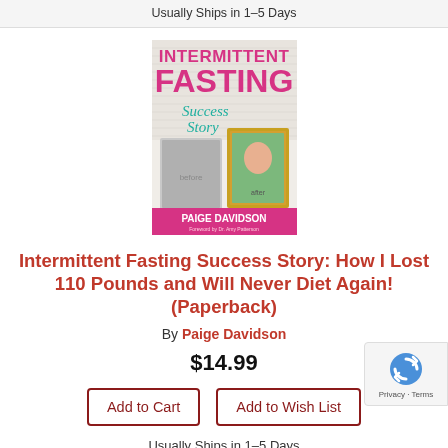Usually Ships in 1-5 Days
[Figure (illustration): Book cover for 'Intermittent Fasting Success Story: How I Lost 110 Pounds and Will Never Diet Again!' by Paige Davidson. White background with pink/magenta bold title text, cursive 'Success Story' subtitle, before/after photos of a woman, and author name at bottom.]
Intermittent Fasting Success Story: How I Lost 110 Pounds and Will Never Diet Again! (Paperback)
By Paige Davidson
$14.99
Add to Cart
Add to Wish List
Usually Ships in 1-5 Days